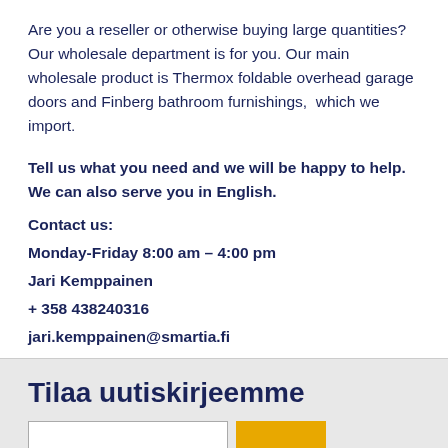Are you a reseller or otherwise buying large quantities? Our wholesale department is for you. Our main wholesale product is Thermox foldable overhead garage doors and Finberg bathroom furnishings,  which we import.
Tell us what you need and we will be happy to help. We can also serve you in English.
Contact us:
Monday-Friday 8:00 am – 4:00 pm
Jari Kemppainen
+ 358 438240316
jari.kemppainen@smartia.fi
Tilaa uutiskirjeemme